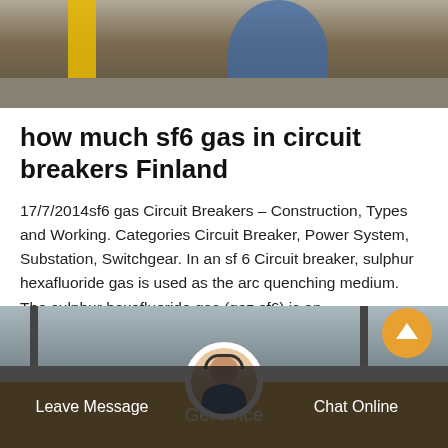[Figure (photo): Top photo showing a worker in blue clothing near yellow equipment/ladder at an industrial site]
how much sf6 gas in circuit breakers Finland
17/7/2014sf6 gas Circuit Breakers – Construction, Types and Working. Categories Circuit Breaker, Power System, Substation, Switchgear. In an sf 6 Circuit breaker, sulphur hexafluoride gas is used as the arc quenching medium. The sulphur hexafluoride gas (gaz sf6) is an electronegative gas and has a strong tendency to absorb free electrons.
[Figure (screenshot): Orange 'Get Price' button]
[Figure (photo): Bottom bar with industrial background, customer service avatar, Leave Message and Chat Online links]